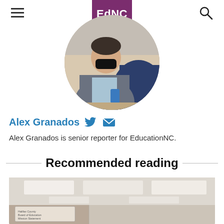EdNC
[Figure (photo): Circular cropped photo of Alex Granados wearing a mask and blazer, holding a phone, seated indoors]
Alex Granados
Alex Granados is senior reporter for EducationNC.
Recommended reading
[Figure (photo): Interior photo showing a hallway or lobby with ceiling lights and a Halifax County Board of Education sign on the wall]